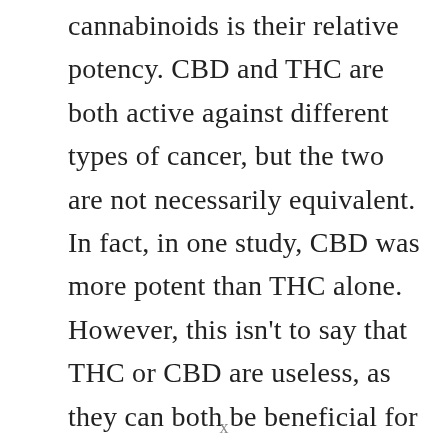cannabinoids is their relative potency. CBD and THC are both active against different types of cancer, but the two are not necessarily equivalent. In fact, in one study, CBD was more potent than THC alone. However, this isn't to say that THC or CBD are useless, as they can both be beneficial for certain conditions. Here, we'll discuss the differences between THC and CBD
x